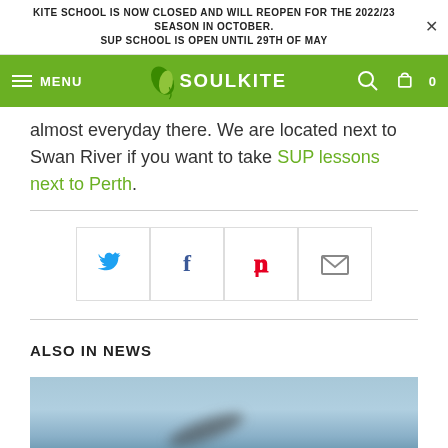KITE SCHOOL IS NOW CLOSED AND WILL REOPEN FOR THE 2022/23 SEASON IN OCTOBER.
SUP SCHOOL IS OPEN UNTIL 29TH OF MAY
[Figure (logo): SoulKite logo with green navigation bar, hamburger menu, search icon, and cart icon showing 0]
almost everyday there. We are located next to Swan River if you want to take SUP lessons next to Perth.
[Figure (infographic): Social share buttons: Twitter (blue bird icon), Facebook (f icon), Pinterest (red P icon), Email (envelope icon)]
ALSO IN NEWS
[Figure (photo): Blurry outdoor photo showing a light blue sky and water/horizon, with a blurred dark object (possibly a kite or bird) in the center]